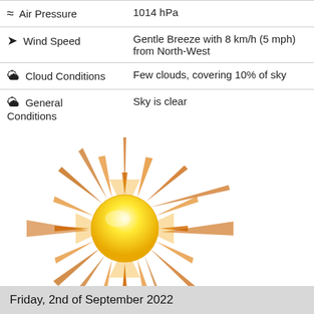| ≈ Air Pressure | 1014 hPa |
| ➤ Wind Speed | Gentle Breeze with 8 km/h (5 mph) from North-West |
| 🌥 Cloud Conditions | Few clouds, covering 10% of sky |
| 🌥 General Conditions | Sky is clear |
[Figure (illustration): A bright sun illustration with golden rays radiating outward, with a glossy yellow circular center.]
Friday, 2nd of September 2022